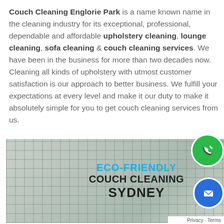Couch Cleaning Englorie Park is a name known name in the cleaning industry for its exceptional, professional, dependable and affordable upholstery cleaning, lounge cleaning, sofa cleaning & couch cleaning services. We have been in the business for more than two decades now. Cleaning all kinds of upholstery with utmost customer satisfaction is our approach to better business. We fulfill your expectations at every level and make it our duty to make it absolutely simple for you to get couch cleaning services from us.
[Figure (photo): Photo of a plaid/checked sofa with overlay text reading ECO-FRIENDLY COUCH CLEANING SYDNEY. A green phone icon button and a blue mail icon button are overlaid on the right side.]